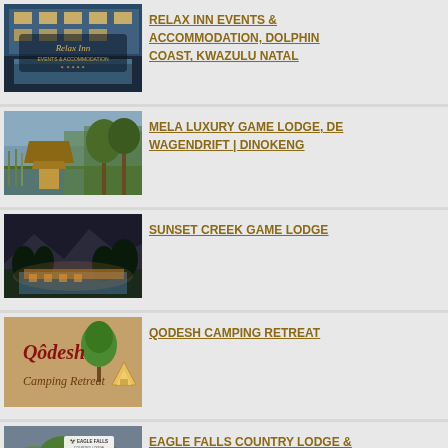[Figure (photo): Relax Inn Events & Accommodation logo/photo showing illuminated building exterior with pool, ornate script logo overlay]
RELAX INN EVENTS & ACCOMMODATION, DOLPHIN COAST, KWAZULU NATAL
[Figure (photo): Mela Luxury Game Lodge photo showing thatched rondavel with trees and reeds near water]
MELA LUXURY GAME LODGE, DE WAGENDRIFT | DINOKENG
[Figure (photo): Sunset Creek Game Lodge photo showing illuminated outdoor dining area at night with mountains and trees]
SUNSET CREEK GAME LODGE
[Figure (logo): Qodesh Camping Retreat logo on brownish background with tree and tent illustration, script text]
QODESH CAMPING RETREAT
[Figure (photo): Eagle Falls Country Lodge photo showing rocky cliff with waterfall and green hillside, Eagle Falls signage visible]
EAGLE FALLS COUNTRY LODGE & ADVENTURES, UNIONDALE (56km)